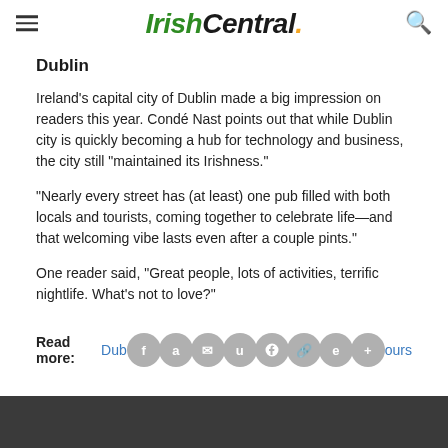IrishCentral.
Dublin
Ireland’s capital city of Dublin made a big impression on readers this year. Condé Nast  points out that while Dublin city is quickly becoming a hub for technology and business, the city still “maintained its Irishness.”
“Nearly every street has (at least) one pub filled with both locals and tourists, coming together to celebrate life—and that welcoming vibe lasts even after a couple pints.”
One reader said, "Great people, lots of activities, terrific nightlife. What's not to love?"
Read more: Dublin's favourite tours